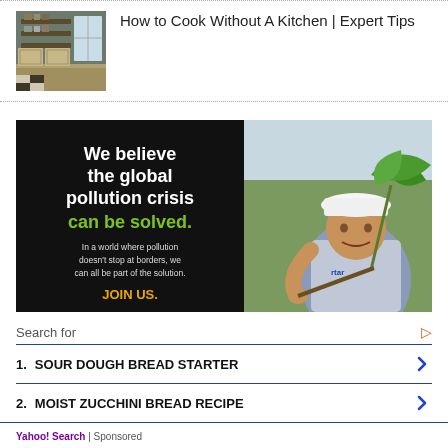[Figure (photo): Thumbnail image of a kitchen interior with wooden shelving and countertops]
How to Cook Without A Kitchen | Expert Tips
[Figure (infographic): Advertisement banner with black background on left showing text 'We believe the global pollution crisis can be solved. In a world where pollution doesn't stop at borders, we can all be part of the solution. JOIN US.' and photo of a person in a white hard hat holding a plant on right.]
Search for
1. SOUR DOUGH BREAD STARTER
2. MOIST ZUCCHINI BREAD RECIPE
Yahoo! Search | Sponsored